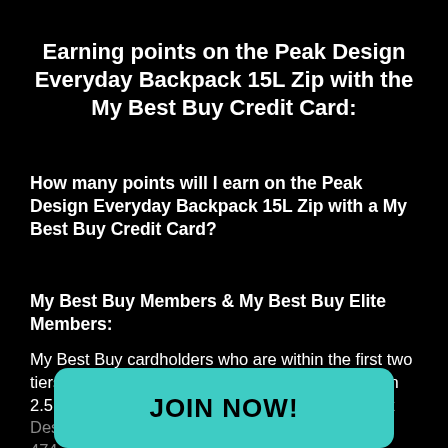Earning points on the Peak Design Everyday Backpack 15L Zip with the My Best Buy Credit Card:
How many points will I earn on the Peak Design Everyday Backpack 15L Zip with a My Best Buy Credit Card?
My Best Buy Members & My Best Buy Elite Members:
My Best Buy cardholders who are within the first two tiers of the My Best Buy rewards program will earn 2.5 points per dollar spent. When buying the Peak Design Everyday Backpack 15L Zip, you'll earn 474.75 points. This is equal to 5%...
[Figure (other): Teal JOIN NOW! button overlaid on the bottom of the page]